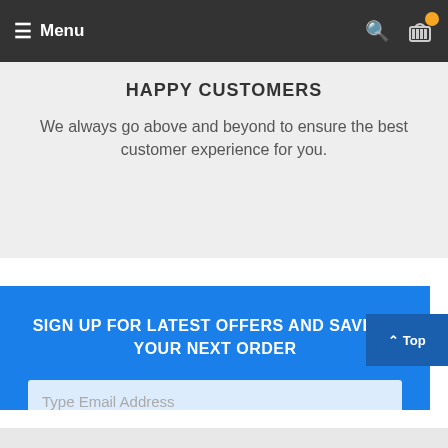≡ Menu
HAPPY CUSTOMERS
We always go above and beyond to ensure the best customer experience for you.
SIGN UP FOR LATEST OFFERS AND SAVE 10% YOUR NEXT ORDER
Type Email Address
Sign Up >